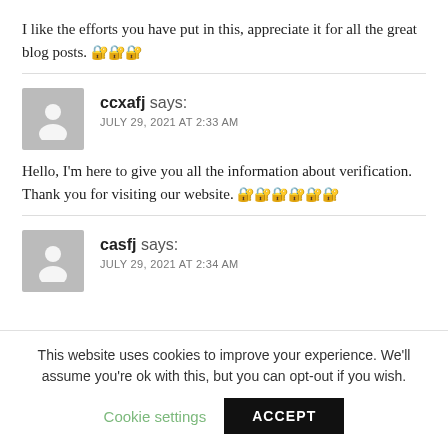I like the efforts you have put in this, appreciate it for all the great blog posts. 🔐🔐🔐
ccxafj says: JULY 29, 2021 AT 2:33 AM
Hello, I'm here to give you all the information about verification. Thank you for visiting our website. 🔐🔐🔐🔐🔐🔐
casfj says: JULY 29, 2021 AT 2:34 AM
This website uses cookies to improve your experience. We'll assume you're ok with this, but you can opt-out if you wish.